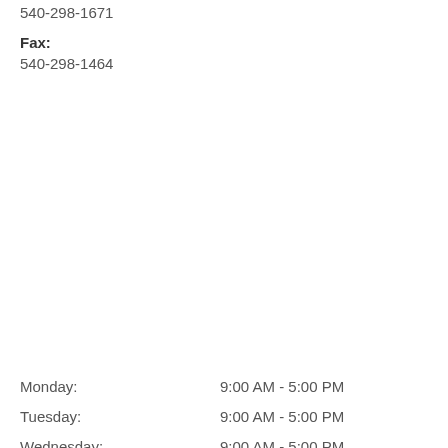540-298-1671
Fax:
540-298-1464
Monday:    9:00 AM - 5:00 PM
Tuesday:    9:00 AM - 5:00 PM
Wednesday:    9:00 AM - 5:00 PM